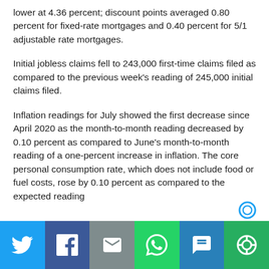lower at 4.36 percent; discount points averaged 0.80 percent for fixed-rate mortgages and 0.40 percent for 5/1 adjustable rate mortgages.
Initial jobless claims fell to 243,000 first-time claims filed as compared to the previous week's reading of 245,000 initial claims filed.
Inflation readings for July showed the first decrease since April 2020 as the month-to-month reading decreased by 0.10 percent as compared to June's month-to-month reading of a one-percent increase in inflation. The core personal consumption rate, which does not include food or fuel costs, rose by 0.10 percent as compared to the expected reading
[Figure (other): Social sharing bar with icons for Twitter, Facebook, Email, WhatsApp, SMS, and More/Share]